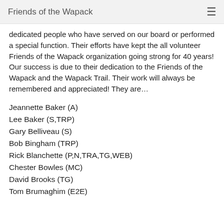Friends of the Wapack
dedicated people who have served on our board or performed a special function. Their efforts have kept the all volunteer Friends of the Wapack organization going strong for 40 years! Our success is due to their dedication to the Friends of the Wapack and the Wapack Trail. Their work will always be remembered and appreciated! They are…
Jeannette Baker (A)
Lee Baker (S,TRP)
Gary Belliveau (S)
Bob Bingham (TRP)
Rick Blanchette (P,N,TRA,TG,WEB)
Chester Bowles (MC)
David Brooks (TG)
Tom Brumaghim (E2E)